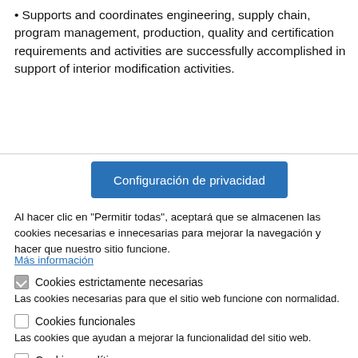Supports and coordinates engineering, supply chain, program management, production, quality and certification requirements and activities are successfully accomplished in support of interior modification activities.
[Figure (screenshot): Blue button labeled 'Configuración de privacidad']
Al hacer clic en "Permitir todas", aceptará que se almacenen las cookies necesarias e innecesarias para mejorar la navegación y hacer que nuestro sitio funcione.
Más información
Cookies estrictamente necesarias
Las cookies necesarias para que el sitio web funcione con normalidad.
Cookies funcionales
Las cookies que ayudan a mejorar la funcionalidad del sitio web.
Cookies analíticas
Las cookies que se utilizan para permitir el análisis del comportamiento de navegación en el sitio web.